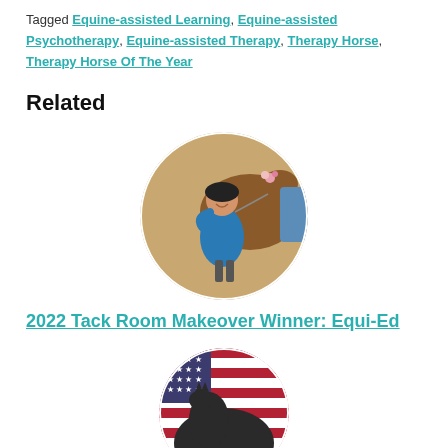Tagged Equine-assisted Learning, Equine-assisted Psychotherapy, Equine-assisted Therapy, Therapy Horse, Therapy Horse Of The Year
Related
[Figure (photo): Circular photo of a child in a blue jacket and black helmet hugging a brown horse decorated with flowers]
2022 Tack Room Makeover Winner: Equi-Ed
[Figure (photo): Circular photo partially visible showing a horse with an American flag background]